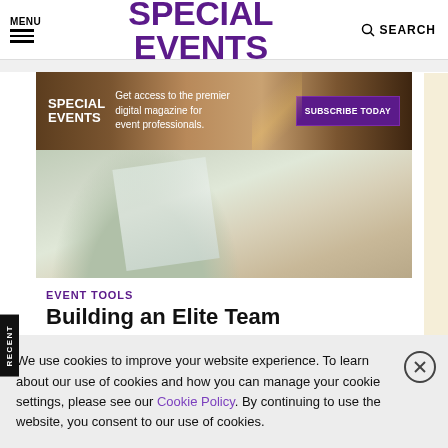MENU | SPECIAL EVENTS | SEARCH
[Figure (infographic): Special Events magazine subscription advertisement banner with brown gradient background. Shows Special Events logo, text 'Get access to the premier digital magazine for event professionals.' and a purple 'SUBSCRIBE TODAY' button.]
[Figure (photo): Photo of a woman in a polka dot blouse holding white papers, cropped to show torso and hands.]
EVENT TOOLS
Building an Elite Team
We use cookies to improve your website experience. To learn about our use of cookies and how you can manage your cookie settings, please see our Cookie Policy. By continuing to use the website, you consent to our use of cookies.